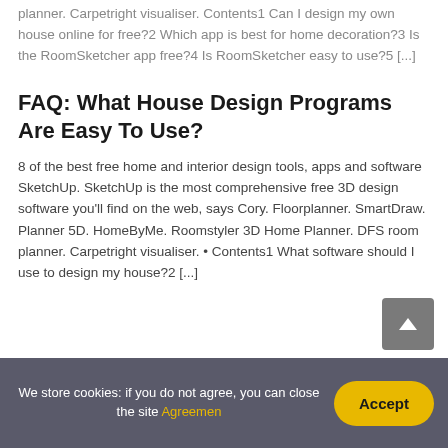planner. Carpetright visualiser. Contents1 Can I design my own house online for free?2 Which app is best for home decoration?3 Is the RoomSketcher app free?4 Is RoomSketcher easy to use?5 [...]
FAQ: What House Design Programs Are Easy To Use?
8 of the best free home and interior design tools, apps and software SketchUp. SketchUp is the most comprehensive free 3D design software you'll find on the web, says Cory. Floorplanner. SmartDraw. Planner 5D. HomeByMe. Roomstyler 3D Home Planner. DFS room planner. Carpetright visualiser. • Contents1 What software should I use to design my house?2 [...]
[Figure (other): Back to top arrow button, dark grey square with upward chevron]
We store cookies: if you do not agree, you can close the site Agreemen